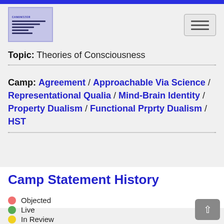[Figure (logo): Canonizer logo with horizontal lines and text]
Topic: Theories of Consciousness
Camp: Agreement / Approachable Via Science / Representational Qualia / Mind-Brain Identity / Property Dualism / Functional Prprty Dualism / HST
Camp Statement History
Objected
Live
In Review
Old